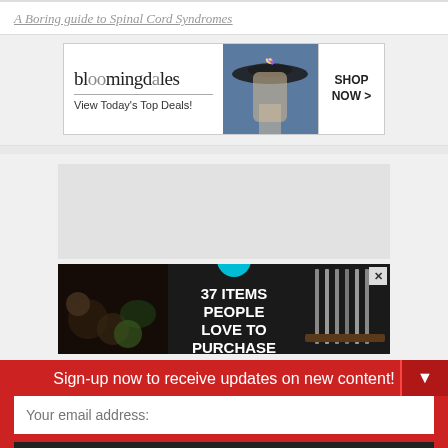A Boring guide to Spinal Cord Syndromes
[Figure (screenshot): Bloomingdale's advertisement banner: logo, 'View Today's Top Deals!', model with hat, SHOP NOW button]
[Figure (screenshot): Amazon advertisement: '37 ITEMS PEOPLE LOVE TO PURCHASE ON AMAZON' with food and knives imagery, badge showing 22]
Sign-up now to receive updates on new content!
Your email address:
Subscribe